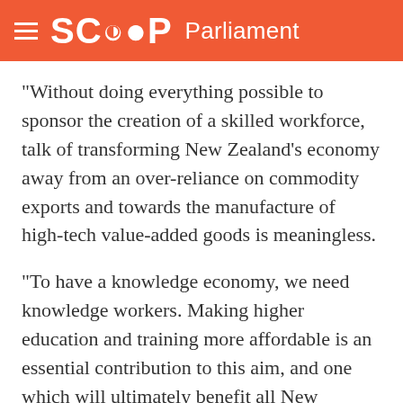SCOOP Parliament
“Without doing everything possible to sponsor the creation of a skilled workforce, talk of transforming New Zealand’s economy away from an over-reliance on commodity exports and towards the manufacture of high-tech value-added goods is meaningless.
“To have a knowledge economy, we need knowledge workers. Making higher education and training more affordable is an essential contribution to this aim, and one which will ultimately benefit all New Zealanders.
“The increase in the minimum wage demonstrates the determination of the Government to give a fair deal to